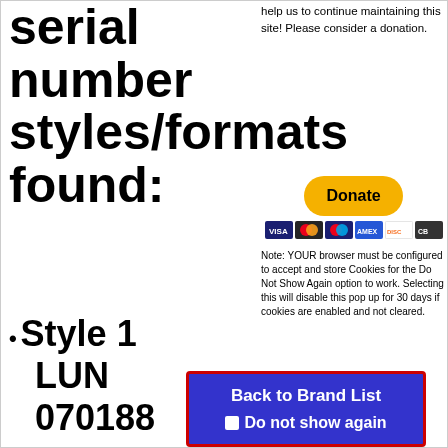serial number styles/formats found:
help us to continue maintaining this site! Please consider a donation.
[Figure (other): PayPal Donate button with payment card icons (Visa, Mastercard, etc.)]
Style 1 LUN 070188
Note: YOUR browser must be configured to accept and store Cookies for the Do Not Show Again option to work. Selecting this will disable this pop up for 30 days if cookies are enabled and not cleared.
Back to Brand List
Do not show again